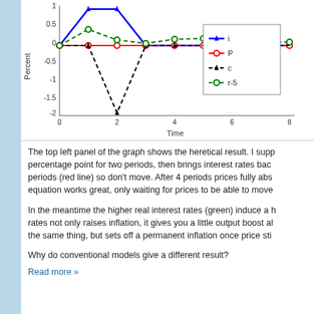[Figure (line-chart): ]
The top left panel of the graph shows the heretical result. I supp percentage point for two periods, then brings interest rates bac periods (red line) so don't move. After 4 periods prices fully abs equation works great, only waiting for prices to be able to move
In the meantime the higher real interest rates (green) induce a rates not only raises inflation, it gives you a little output boost a the same thing, but sets off a permanent inflation once price sti
Why do conventional models give a different result?
Read more »